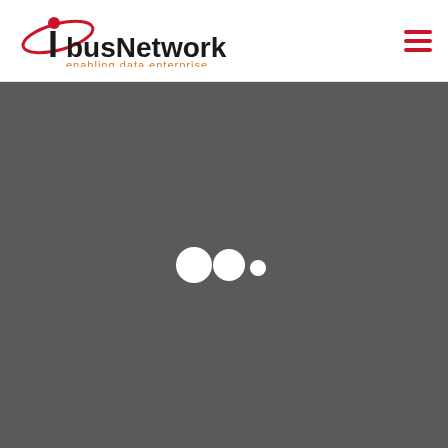[Figure (logo): ibus Networks logo with red circle/swoosh, black 'I', 'bus Networks' text in black with registered trademark symbol, and 'enabling data enterprise' tagline in orange below]
[Figure (other): Dark gray background with a loading animation consisting of two white circles and one smaller white dot, indicating a page loading state]